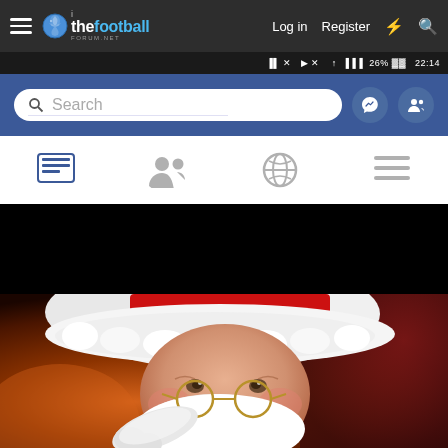thefootballforum.net navigation bar with hamburger menu, logo, Log in, Register, and search icons
[Figure (screenshot): Mobile phone status bar showing battery 26% and time 22:14 on dark background]
[Figure (screenshot): Facebook mobile app search bar on blue background with messenger and contacts icons]
[Figure (screenshot): Facebook mobile bottom navigation icons: news feed, friends, globe/world, menu (hamburger)]
[Figure (photo): Photo of Santa Claus in red and white costume and hat, wearing glasses, pointing at camera, with fireplace glow in background. Upper portion of image is black (video not loaded).]